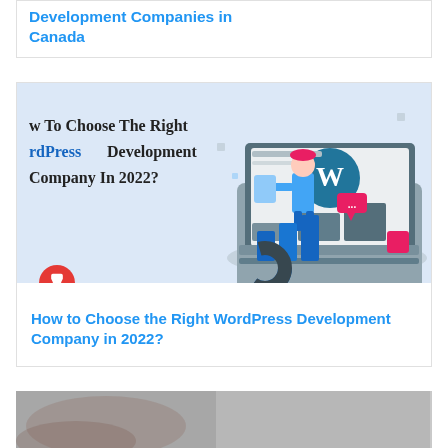Development Companies in Canada
[Figure (illustration): Isometric illustration of a person standing on a large laptop keyboard, with WordPress logo on screen, bar charts, and data elements. Text overlay reads: How To Choose The Right WordPress Development Company In 2022?]
How to Choose the Right WordPress Development Company in 2022?
[Figure (photo): Partial photo of a person's hands/clothing at bottom of page, mostly cropped out]